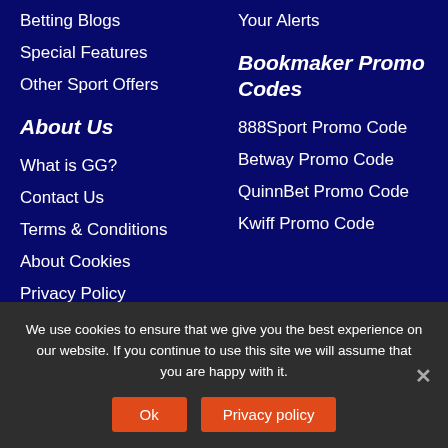Betting Blogs
Your Alerts
Special Features
Other Sport Offers
About Us
Bookmaker Promo Codes
What is GG?
888Sport Promo Code
Contact Us
Betway Promo Code
Terms & Conditions
QuinnBet Promo Code
About Cookies
Kwiff Promo Code
Privacy Policy
We use cookies to ensure that we give you the best experience on our website. If you continue to use this site we will assume that you are happy with it.